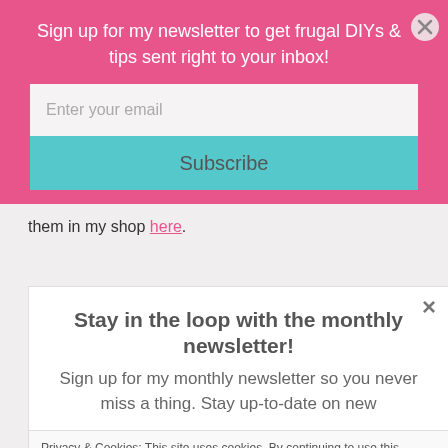Sign up for my newsletter to get frugal DIYs & tips sent right to your inbox!
[Figure (screenshot): Email input field with placeholder 'Enter your email']
[Figure (screenshot): Subscribe button in teal/cyan color]
them in my shop here.
Stay in the loop with the monthly newsletter!
Sign up for my monthly newsletter so you never miss a thing. Stay up-to-date on new
Privacy & Cookies: This site uses cookies. By continuing to use this website, you agree to their use. To find out more, including how to control cookies, see here: Cookie Policy
Close and accept